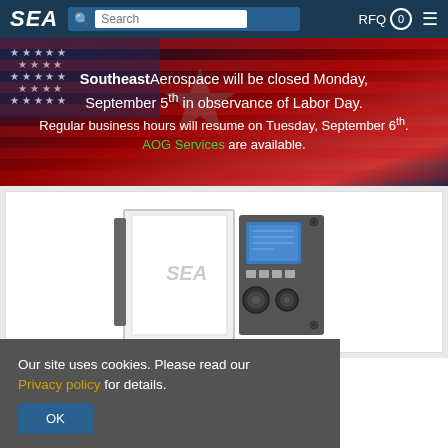SEA | Search | RFQ 0
Southeast Aerospace will be closed Monday, September 5th in observance of Labor Day. Regular business hours will resume on Tuesday, September 6th. AOG Services are available.
[Figure (photo): Aerospace electronic equipment/avionics unit with control panel and knobs, shown in a white product card area]
Our site uses cookies. Please read our Privacy policy for details. OK